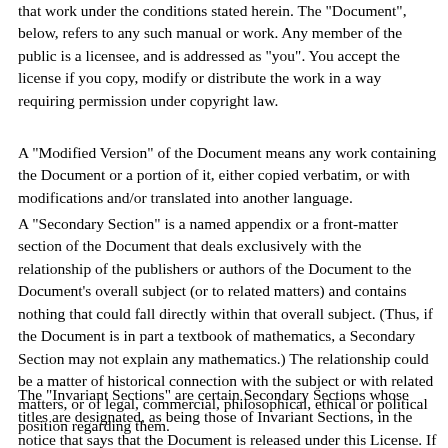that work under the conditions stated herein. The "Document", below, refers to any such manual or work. Any member of the public is a licensee, and is addressed as "you". You accept the license if you copy, modify or distribute the work in a way requiring permission under copyright law.
A "Modified Version" of the Document means any work containing the Document or a portion of it, either copied verbatim, or with modifications and/or translated into another language.
A "Secondary Section" is a named appendix or a front-matter section of the Document that deals exclusively with the relationship of the publishers or authors of the Document to the Document's overall subject (or to related matters) and contains nothing that could fall directly within that overall subject. (Thus, if the Document is in part a textbook of mathematics, a Secondary Section may not explain any mathematics.) The relationship could be a matter of historical connection with the subject or with related matters, or of legal, commercial, philosophical, ethical or political position regarding them.
The "Invariant Sections" are certain Secondary Sections whose titles are designated, as being those of Invariant Sections, in the notice that says that the Document is released under this License. If a section does not fit the above definition of Secondary then it is not allowed to be designated as Invariant. The Document may